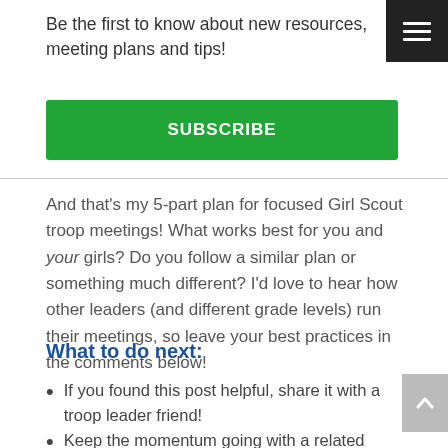Be the first to know about new resources, meeting plans and tips!
SUBSCRIBE
And that's my 5-part plan for focused Girl Scout troop meetings! What works best for you and your girls? Do you follow a similar plan or something much different? I'd love to hear how other leaders (and different grade levels) run their meetings, so leave your best practices in the comments below!
What to do next:
If you found this post helpful, share it with a troop leader friend!
Keep the momentum going with a related